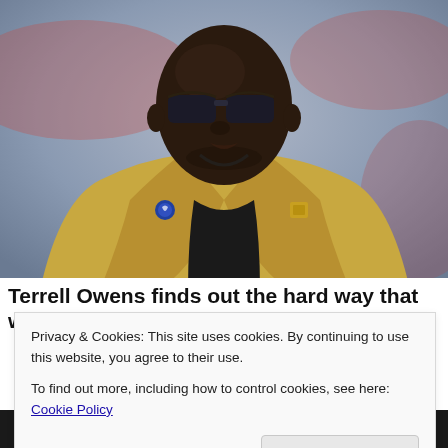[Figure (photo): Photo of Terrell Owens wearing sunglasses and a gold/yellow Hall of Fame blazer with pins, looking upward, against a blurred stadium background.]
Terrell Owens finds out the hard way that white
Privacy & Cookies: This site uses cookies. By continuing to use this website, you agree to their use.
To find out more, including how to control cookies, see here: Cookie Policy
Close and accept
[Figure (photo): Partial photo at the bottom of the page, showing the top of a person's head.]